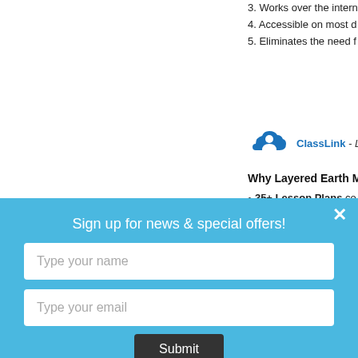3. Works over the intern
4. Accessible on most d
5. Eliminates the need f
[Figure (logo): ClassLink cloud logo with figure icon]
ClassLink - Layered Earth
Why Layered Earth Met
35+ Lesson Plans co
Clear articulation of L
Sign up for news & special offers!
Type your name
Type your email
Submit